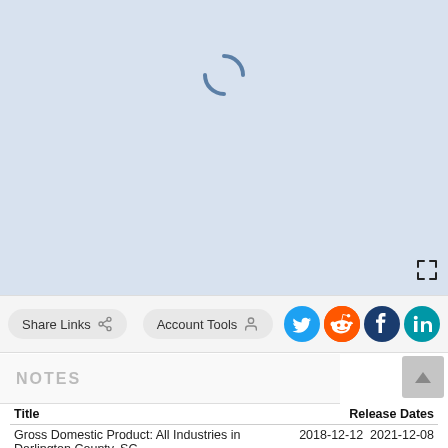[Figure (map): Loading map placeholder with blue spinner on light blue-gray background. A fullscreen icon appears in the bottom-right corner.]
Share Links  Account Tools
[Figure (infographic): Social media share icons: Twitter (blue), Reddit (orange), Facebook (dark blue), LinkedIn (teal)]
NOTES
| Title | Release Dates |
| --- | --- |
| Gross Domestic Product: All Industries in Darlington County, SC | 2018-12-12  2021-12-08 |